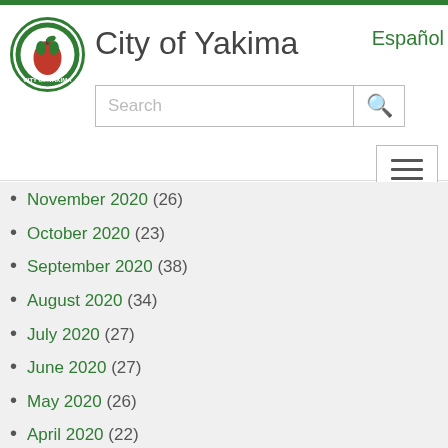City of Yakima
November 2020 (26)
October 2020 (23)
September 2020 (38)
August 2020 (34)
July 2020 (27)
June 2020 (27)
May 2020 (26)
April 2020 (22)
March 2020 (37)
February 2020 (24)
January 2020 (22)
December 2019 (17)
November 2019 (20)
October 2019 (24)